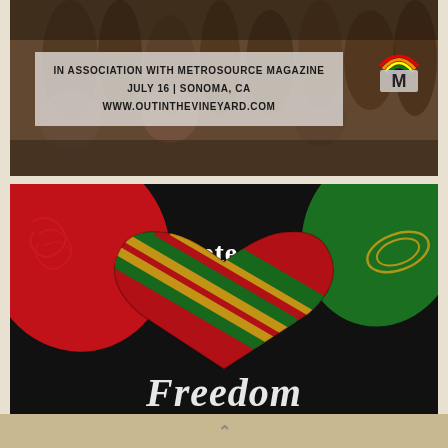[Figure (photo): Top banner area showing people dancing/socializing at an event, with a semi-transparent overlay banner containing event text and Metrosource magazine rainbow logo]
IN ASSOCIATION WITH METROSOURCE MAGAZINE
JULY 16 | SONOMA, CA
WWW.OUTINTHEVINEYARD.COM
[Figure (illustration): Juneteenth Freedom graphic: black background with red and green blobs in corners, decorative swirls, bold white 'Juneteenth' text, a large heart filled with red/yellow/green diagonal stripe pattern, and cursive white 'Freedom' text below]